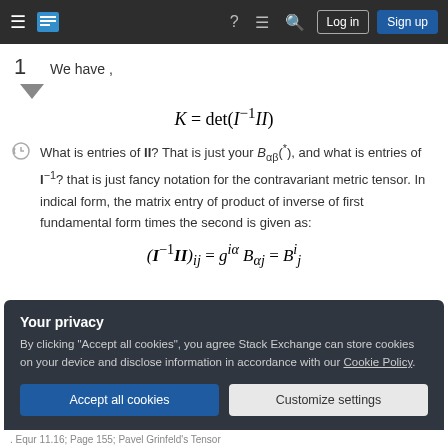Stack Exchange navigation bar with hamburger menu, logo, help, chat, search, Log in, Sign up
1   We have ,
What is entries of II? That is just your B_{αβ}(*), and what is entries of I^{-1}? that is just fancy notation for the contravariant metric tensor. In indical form, the matrix entry of product of inverse of first fundamental form times the second is given as:
Your privacy
By clicking "Accept all cookies", you agree Stack Exchange can store cookies on your device and disclose information in accordance with our Cookie Policy.
[Accept all cookies] [Customize settings]
. Equr 11.16; Page 155; Pavel Grinfeld's Tensor